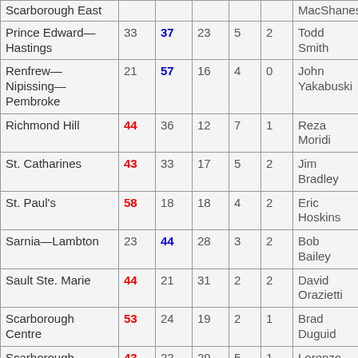| Riding | Lib% | PC% | NDP% | Grn% | Oth% | MPP |
| --- | --- | --- | --- | --- | --- | --- |
| Scarborough East |  |  |  |  |  | MacShanes |
| Prince Edward—Hastings | 33 | 37 | 23 | 5 | 2 | Todd Smith |
| Renfrew—Nipissing—Pembroke | 21 | 57 | 16 | 4 | 0 | John Yakabuski |
| Richmond Hill | 44 | 36 | 12 | 7 | 1 | Reza Moridi |
| St. Catharines | 43 | 33 | 17 | 5 | 2 | Jim Bradley |
| St. Paul's | 58 | 18 | 18 | 4 | 2 | Eric Hoskins |
| Sarnia—Lambton | 23 | 44 | 28 | 3 | 2 | Bob Bailey |
| Sault Ste. Marie | 44 | 21 | 31 | 2 | 2 | David Orazietti |
| Scarborough Centre | 53 | 24 | 19 | 2 | 1 | Brad Duguid |
| Scarborough Southwest | 43 | 22 | 29 | 5 | 1 | Lorenzo Berardinetti |
| Scarborough—Agincourt | 57 | 21 | 18 | 2 | 2 | Soo Wong |